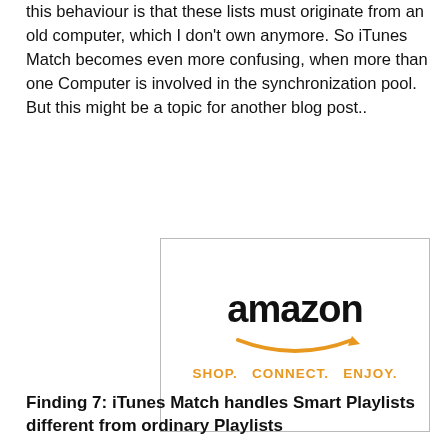this behaviour is that these lists must originate from an old computer, which I don't own anymore. So iTunes Match becomes even more confusing, when more than one Computer is involved in the synchronization pool. But this might be a topic for another blog post..
[Figure (logo): Amazon advertisement box with the Amazon logo (black text 'amazon' with orange arrow/smile), and tagline 'SHOP. CONNECT. ENJOY.' in orange text, all inside a light gray border box.]
Finding 7: iTunes Match handles Smart Playlists different from ordinary Playlists